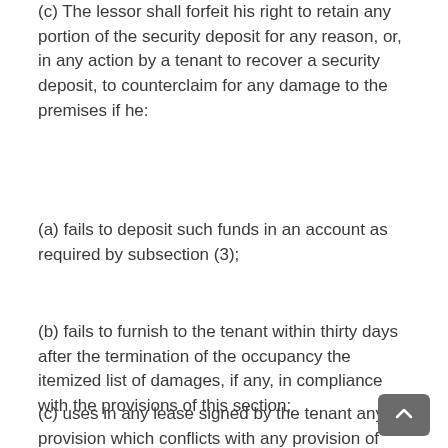(c) The lessor shall forfeit his right to retain any portion of the security deposit for any reason, or, in any action by a tenant to recover a security deposit, to counterclaim for any damage to the premises if he:
(a) fails to deposit such funds in an account as required by subsection (3);
(b) fails to furnish to the tenant within thirty days after the termination of the occupancy the itemized list of damages, if any, in compliance with the provisions of this section;
(c) uses in any lease signed by the tenant any provision which conflicts with any provision of this